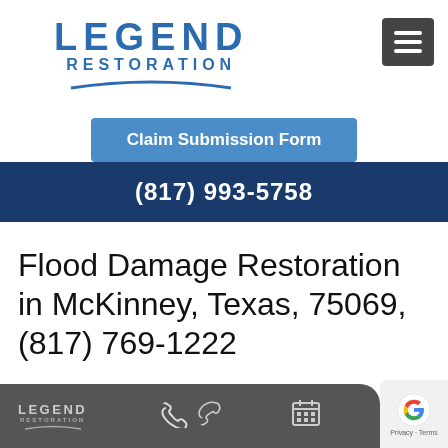[Figure (logo): Legend Restoration logo with blue text and arc underline]
Claim Submission Form
(817) 993-5758
Flood Damage Restoration in McKinney, Texas, 75069, (817) 769-1222
[Figure (logo): Bottom bar with Legend Restoration logo, phone icon, calendar icon, and Google badge with Privacy · Terms text]